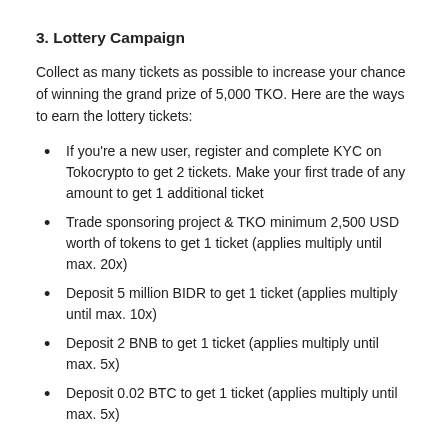3. Lottery Campaign
Collect as many tickets as possible to increase your chance of winning the grand prize of 5,000 TKO. Here are the ways to earn the lottery tickets:
If you're a new user, register and complete KYC on Tokocrypto to get 2 tickets. Make your first trade of any amount to get 1 additional ticket
Trade sponsoring project & TKO minimum 2,500 USD worth of tokens to get 1 ticket (applies multiply until max. 20x)
Deposit 5 million BIDR to get 1 ticket (applies multiply until max. 10x)
Deposit 2 BNB to get 1 ticket (applies multiply until max. 5x)
Deposit 0.02 BTC to get 1 ticket (applies multiply until max. 5x)